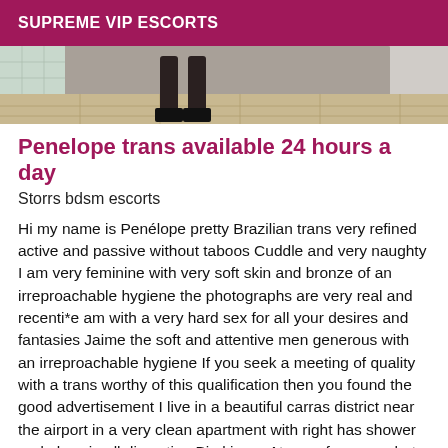SUPREME VIP ESCORTS
[Figure (photo): Partial photo showing legs/feet on tiled floor, bottom portion of a person]
Penelope trans available 24 hours a day
Storrs bdsm escorts
Hi my name is Penélope pretty Brazilian trans very refined active and passive without taboos Cuddle and very naughty I am very feminine with very soft skin and bronze of an irreproachable hygiene the photographs are very real and recenti*e am with a very hard sex for all your desires and fantasies Jaime the soft and attentive men generous with an irreproachable hygiene If you seek a meeting of quality with a trans worthy of this qualification then you found the good advertisement I live in a beautiful carras district near the airport in a very clean apartment with right has shower and glass in all discretion Big kisses At once for a very hot meeting No continuation will be given to the numbers masks Call